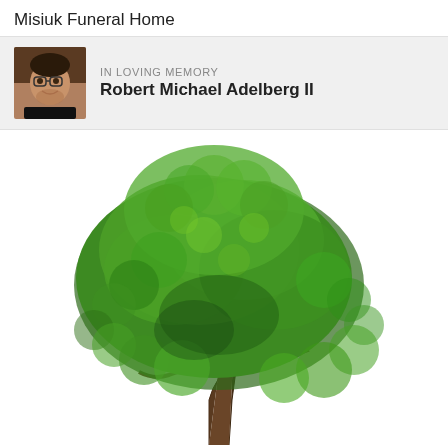Misiuk Funeral Home
IN LOVING MEMORY
Robert Michael Adelberg II
[Figure (photo): A large green deciduous tree with full leafy canopy photographed against a white background, with a dark brown trunk visible at the bottom center.]